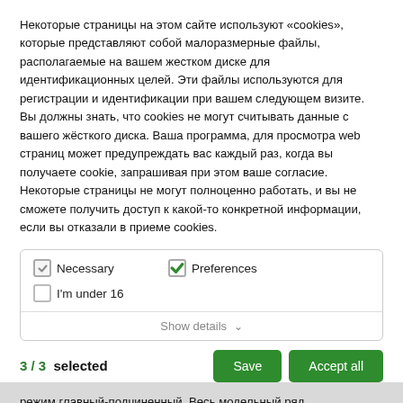Некоторые страницы на этом сайте используют «cookies», которые представляют собой малоразмерные файлы, располагаемые на вашем жестком диске для идентификационных целей. Эти файлы используются для регистрации и идентификации при вашем следующем визите. Вы должны знать, что cookies не могут считывать данные с вашего жёсткого диска. Ваша программа, для просмотра web страниц может предупреждать вас каждый раз, когда вы получаете cookie, запрашивая при этом ваше согласие. Некоторые страницы не могут полноценно работать, и вы не сможете получить доступ к какой-то конкретной информации, если вы отказали в приеме cookies.
[Figure (screenshot): Cookie consent UI with checkboxes for Necessary (checked, gray), Preferences (checked, green), I'm under 16 (unchecked), and a Show details button]
3 / 3  selected
режим главный-подчиненный. Весь модельный ряд поддерживает несколько стеков и параллельное соединение благодаря удобному дизайну ножки. Установите с комплектом для монтажа в стойку для достижения идеального использования.